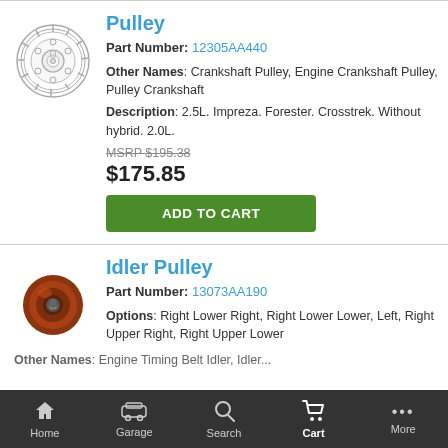[Figure (illustration): Line drawing of a crankshaft pulley, circular with bolt holes and ribbed outer edge]
Pulley
Part Number: 12305AA440
Other Names: Crankshaft Pulley, Engine Crankshaft Pulley, Pulley Crankshaft
Description: 2.5L. Impreza. Forester. Crosstrek. Without hybrid. 2.0L.
MSRP $195.38
$175.85
ADD TO CART
[Figure (photo): Photo of a small round brown/red idler pulley with bolt in center]
Idler Pulley
Part Number: 13073AA190
Options: Right Lower Right, Right Lower Lower, Left, Right Upper Right, Right Upper Lower
Other Names: Engine Timing Belt Idler, Idler...
Home  Garage  Search  Cart  More